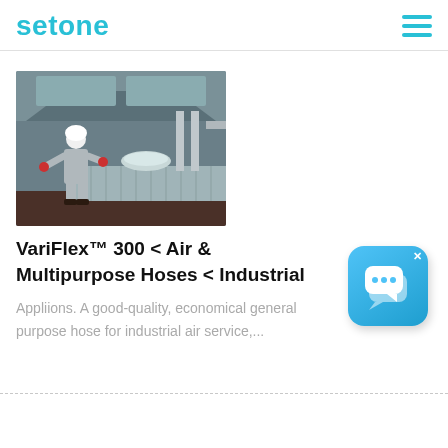setone
[Figure (photo): Industrial worker in protective gear spraying or cleaning in a commercial kitchen environment with stainless steel equipment and ventilation hoods.]
VariFlex™ 300 < Air & Multipurpose Hoses < Industrial
Appliions. A good-quality, economical general purpose hose for industrial air service,...
[Figure (illustration): Chat/messaging app icon — blue rounded square with two overlapping speech bubble icons in white.]